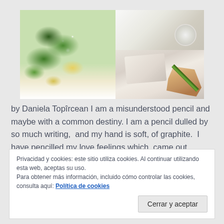[Figure (photo): Collage of two photos: left shows yellow and white flowers with green leaves on a white surface, right shows a hand holding a green pencil writing on paper, with a white cup/bowl in the upper right corner.]
by Daniela Topîrcean I am a misunderstood pencil and maybe with a common destiny. I am a pencil dulled by so much writing,  and my hand is soft, of graphite.  I have pencilled my love feelings which  came out unexpectedly on my path with  respect and reverence
Privacidad y cookies: este sitio utiliza cookies. Al continuar utilizando esta web, aceptas su uso.
Para obtener más información, incluido cómo controlar las cookies, consulta aquí: Política de cookies
Cerrar y aceptar